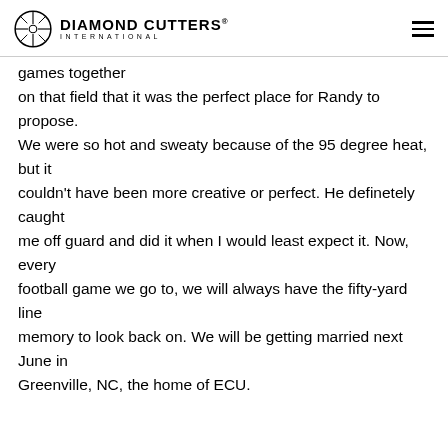Diamond Cutters International
games together
on that field that it was the perfect place for Randy to propose.
We were so hot and sweaty because of the 95 degree heat, but it
couldn’t have been more creative or perfect. He definetely caught
me off guard and did it when I would least expect it. Now, every
football game we go to, we will always have the fifty-yard line
memory to look back on. We will be getting married next June in
Greenville, NC, the home of ECU.